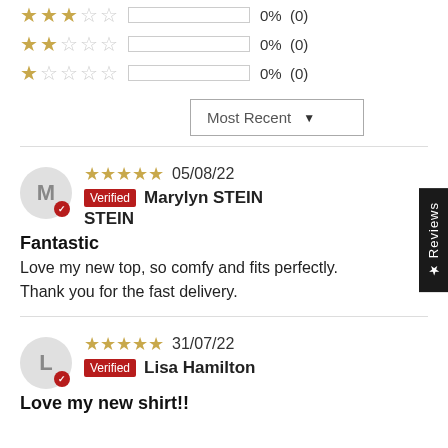[Figure (other): Star rating row: 3 stars filled, 2 empty, 0%, (0)]
[Figure (other): Star rating row: 2 stars filled, 3 empty, 0%, (0)]
[Figure (other): Star rating row: 1 star filled, 4 empty, 0%, (0)]
Most Recent ▼
★★★★★ 05/08/22 Verified Marylyn STEIN STEIN
Fantastic
Love my new top, so comfy and fits perfectly.
Thank you for the fast delivery.
★★★★★ 31/07/22 Verified Lisa Hamilton
Love my new shirt!!